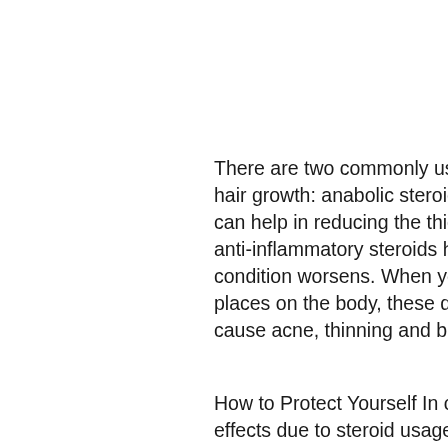There are two commonly used types of steroids that can potentially affect hair growth: anabolic steroids and anti-inflammatory steroids. The former can help in reducing the thickness of the strands from time to time while the anti-inflammatory steroids help the hair growth process to speed up as the condition worsens. When your hair is damaged or grows in the wrong places on the body, these drugs can cause permanent harm as they can cause acne, thinning and breakage of the hair.
How to Protect Yourself In order to help protect yourself from serious side effects due to steroid usage, you should stay away from steroid use. While there's no